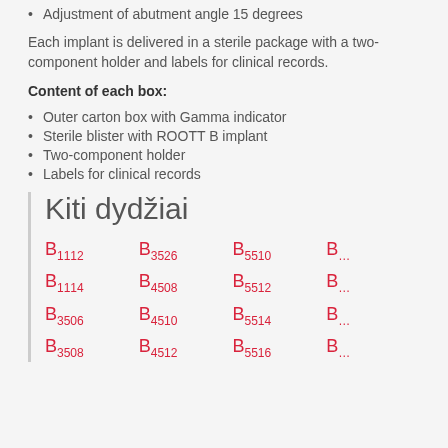Adjustment of abutment angle 15 degrees
Each implant is delivered in a sterile package with a two-component holder and labels for clinical records.
Content of each box:
Outer carton box with Gamma indicator
Sterile blister with ROOTT B implant
Two-component holder
Labels for clinical records
Kiti dydžiai
B1112  B3526  B5510  B...
B1114  B4508  B5512  B...
B3506  B4510  B5514  B...
B3508  B4512  B5516  B...